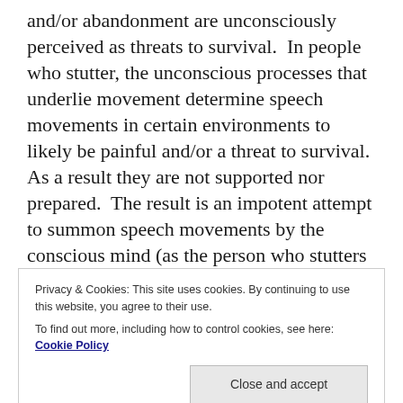and/or abandonment are unconsciously perceived as threats to survival. In people who stutter, the unconscious processes that underlie movement determine speech movements in certain environments to likely be painful and/or a threat to survival. As a result they are not supported nor prepared. The result is an impotent attempt to summon speech movements by the conscious mind (as the person who stutters consciously desires to speak) which results in blocking and stuttering behaviors as speech movement must be supported by unconscious processes to be performed. These unconscious processes factor in the environment and the
Privacy & Cookies: This site uses cookies. By continuing to use this website, you agree to their use.
To find out more, including how to control cookies, see here: Cookie Policy
problematic environments (often ones with other